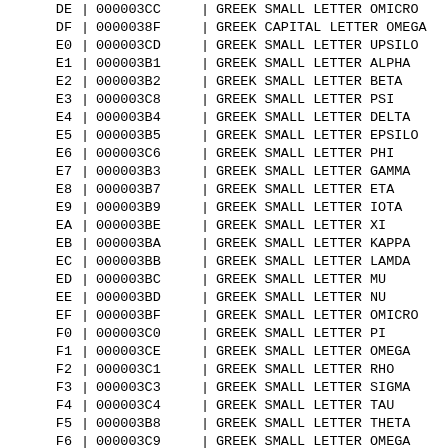| Hex |  | Unicode |  | Name |
| --- | --- | --- | --- | --- |
| DE | | | 000003CC | | | GREEK SMALL LETTER OMICRO |
| DF | | | 0000038F | | | GREEK CAPITAL LETTER OMEGA |
| E0 | | | 000003CD | | | GREEK SMALL LETTER UPSILO |
| E1 | | | 000003B1 | | | GREEK SMALL LETTER ALPHA |
| E2 | | | 000003B2 | | | GREEK SMALL LETTER BETA |
| E3 | | | 000003C8 | | | GREEK SMALL LETTER PSI |
| E4 | | | 000003B4 | | | GREEK SMALL LETTER DELTA |
| E5 | | | 000003B5 | | | GREEK SMALL LETTER EPSILO |
| E6 | | | 000003C6 | | | GREEK SMALL LETTER PHI |
| E7 | | | 000003B3 | | | GREEK SMALL LETTER GAMMA |
| E8 | | | 000003B7 | | | GREEK SMALL LETTER ETA |
| E9 | | | 000003B9 | | | GREEK SMALL LETTER IOTA |
| EA | | | 000003BE | | | GREEK SMALL LETTER XI |
| EB | | | 000003BA | | | GREEK SMALL LETTER KAPPA |
| EC | | | 000003BB | | | GREEK SMALL LETTER LAMDA |
| ED | | | 000003BC | | | GREEK SMALL LETTER MU |
| EE | | | 000003BD | | | GREEK SMALL LETTER NU |
| EF | | | 000003BF | | | GREEK SMALL LETTER OMICRO |
| F0 | | | 000003C0 | | | GREEK SMALL LETTER PI |
| F1 | | | 000003CE | | | GREEK SMALL LETTER OMEGA |
| F2 | | | 000003C1 | | | GREEK SMALL LETTER RHO |
| F3 | | | 000003C3 | | | GREEK SMALL LETTER SIGMA |
| F4 | | | 000003C4 | | | GREEK SMALL LETTER TAU |
| F5 | | | 000003B8 | | | GREEK SMALL LETTER THETA |
| F6 | | | 000003C9 | | | GREEK SMALL LETTER OMEGA |